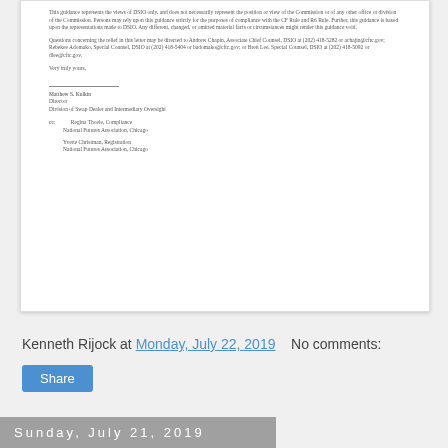[Figure (other): Scanned letter page showing closing paragraphs, signature block, and cc list of a DSIO regulatory guidance letter. Text includes disclaimer about guidance representing DSIO views, contact information for Andrew Chapin and others, salutation 'Very truly yours', signature of Matthew S. Kulkin, Director, Division of Swap Dealer and Intermediary Oversight, and cc entries for Regina Thoele and Yvette Christman at National Futures Association, Chicago.]
Kenneth Rijock at Monday, July 22, 2019    No comments:
Share
Sunday, July 21, 2019